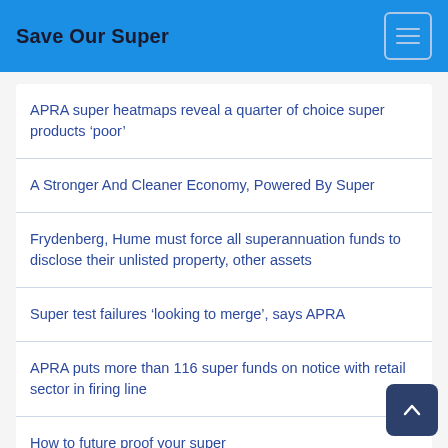Save Our Super
APRA super heatmaps reveal a quarter of choice super products ‘poor’
A Stronger And Cleaner Economy, Powered By Super
Frydenberg, Hume must force all superannuation funds to disclose their unlisted property, other assets
Super test failures ‘looking to merge’, says APRA
APRA puts more than 116 super funds on notice with retail sector in firing line
How to future proof your super
Seven things we learned from the first superannuation ‘s…file’